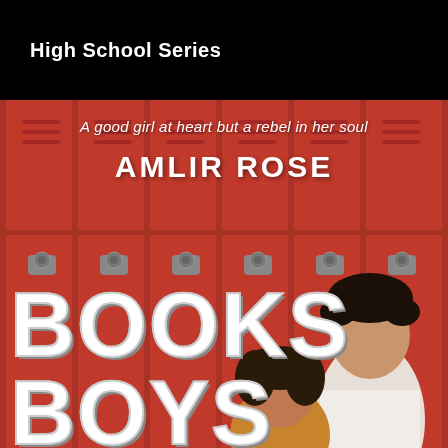High School Series
[Figure (illustration): Book cover showing red school lockers background with two young people (a girl and a boy) in the foreground. Title text 'BOOKS BOYS' in large white distressed font, author name 'AMLIR ROSE' centered, and subtitle 'A good girl at heart but a rebel in her soul' at top.]
A good girl at heart but a rebel in her soul
AMLIR ROSE
BOOKS
BOYS